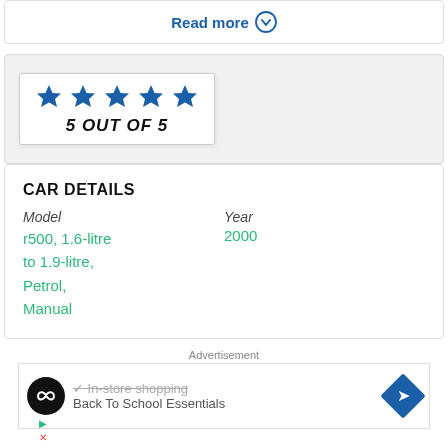Read more
[Figure (infographic): 5 out of 5 stars rating badge with five blue stars and text '5 OUT OF 5']
CAR DETAILS
Model
r500, 1.6-litre to 1.9-litre, Petrol, Manual
Year
2000
Advertisement
[Figure (screenshot): Advertisement banner showing in-store shopping text, a logo with infinity symbol, Back To School Essentials text, and a blue diamond arrow icon]